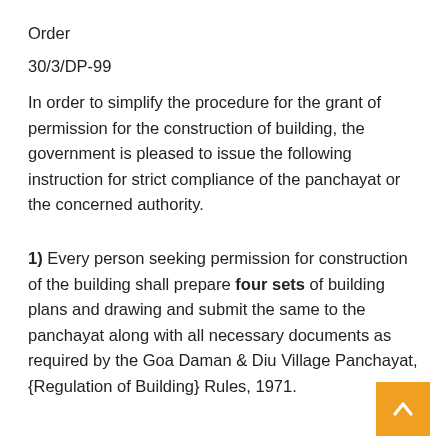Order
30/3/DP-99
In order to simplify the procedure for the grant of permission for the construction of building, the government is pleased to issue the following instruction for strict compliance of the panchayat or the concerned authority.
1) Every person seeking permission for construction of the building shall prepare four sets of building plans and drawing and submit the same to the panchayat along with all necessary documents as required by the Goa Daman & Diu Village Panchayat, {Regulation of Building} Rules, 1971.